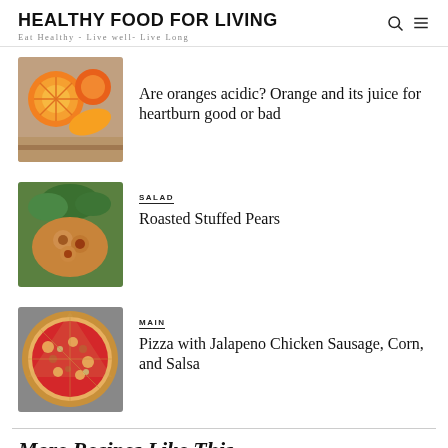HEALTHY FOOD FOR LIVING
Eat Healthy - Live well- Live Long
[Figure (photo): Oranges and citrus fruits on a wooden surface]
Are oranges acidic? Orange and its juice for heartburn good or bad
SALAD
[Figure (photo): Roasted stuffed pears on a wooden board with salad greens]
Roasted Stuffed Pears
MAIN
[Figure (photo): Pizza with jalapeno chicken sausage, corn and salsa]
Pizza with Jalapeno Chicken Sausage, Corn, and Salsa
More Recipes Like This